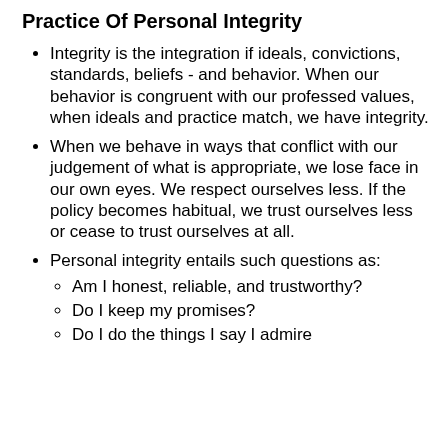Practice Of Personal Integrity
Integrity is the integration if ideals, convictions, standards, beliefs - and behavior. When our behavior is congruent with our professed values, when ideals and practice match, we have integrity.
When we behave in ways that conflict with our judgement of what is appropriate, we lose face in our own eyes. We respect ourselves less. If the policy becomes habitual, we trust ourselves less or cease to trust ourselves at all.
Personal integrity entails such questions as:
Am I honest, reliable, and trustworthy?
Do I keep my promises?
Do I do the things I say I admire